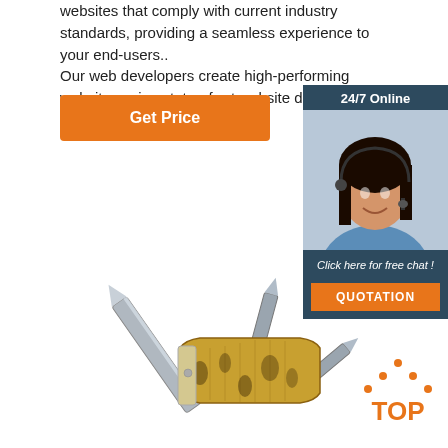websites that comply with current industry standards, providing a seamless experience to your end-users.. Our web developers create high-performing websites using state-of-art website development practices.
Get Price
[Figure (infographic): Sidebar widget with '24/7 Online' header, photo of woman with headset, 'Click here for free chat!' text, and orange QUOTATION button on dark blue background]
[Figure (photo): Open folding pocket knife (pen knife/jack knife) with yellow bone handle and multiple blades extended]
[Figure (logo): TOP logo with orange dots arranged in diamond/arrow pattern and orange text 'TOP']